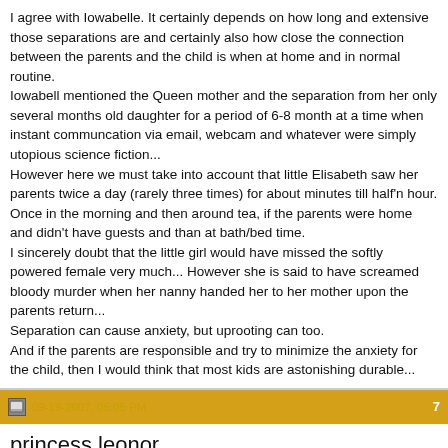I agree with Iowabelle. It certainly depends on how long and extensive those separations are and certainly also how close the connection between the parents and the child is when at home and in normal routine.
Iowabell mentioned the Queen mother and the separation from her only several months old daughter for a period of 6-8 month at a time when instant communcation via email, webcam and whatever were simply utopious science fiction...
However here we must take into account that little Elisabeth saw her parents twice a day (rarely three times) for about minutes till half'n hour. Once in the morning and then around tea, if the parents were home and didn't have guests and than at bath/bed time.
I sincerely doubt that the little girl would have missed the softly powered female very much... However she is said to have screamed bloody murder when her nanny handed her to her mother upon the parents return...
Separation can cause anxiety, but uprooting can too.
And if the parents are responsible and try to minimize the anxiety for the child, then I would think that most kids are astonishing durable...
09-19-2007, 05:05 PM  7
princess leonor
I guess if it's just for a few days and it doesn't happen every month, there no real problem for the child. Being spoiled by your grandparents is quite nice too. Besides it wouldn't be good for them